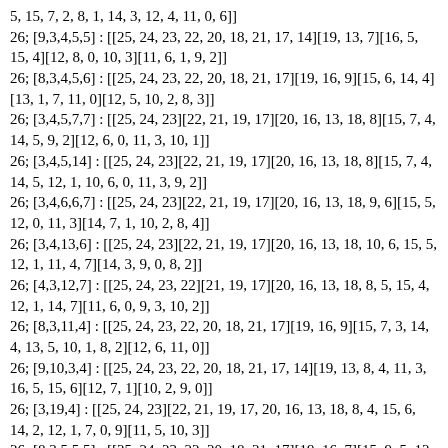5, 15, 7, 2, 8, 1, 14, 3, 12, 4, 11, 0, 6]]
26; [9,3,4,5,5] : [[25, 24, 23, 22, 20, 18, 21, 17, 14][19, 13, 7][16, 5, 15, 4][12, 8, 0, 10, 3][11, 6, 1, 9, 2]]
26; [8,3,4,5,6] : [[25, 24, 23, 22, 20, 18, 21, 17][19, 16, 9][15, 6, 14, 4][13, 1, 7, 11, 0][12, 5, 10, 2, 8, 3]]
26; [3,4,5,7,7] : [[25, 24, 23][22, 21, 19, 17][20, 16, 13, 18, 8][15, 7, 4, 14, 5, 9, 2][12, 6, 0, 11, 3, 10, 1]]
26; [3,4,5,14] : [[25, 24, 23][22, 21, 19, 17][20, 16, 13, 18, 8][15, 7, 4, 14, 5, 12, 1, 10, 6, 0, 11, 3, 9, 2]]
26; [3,4,6,6,7] : [[25, 24, 23][22, 21, 19, 17][20, 16, 13, 18, 9, 6][15, 5, 12, 0, 11, 3][14, 7, 1, 10, 2, 8, 4]]
26; [3,4,13,6] : [[25, 24, 23][22, 21, 19, 17][20, 16, 13, 18, 10, 6, 15, 5, 12, 1, 11, 4, 7][14, 3, 9, 0, 8, 2]]
26; [4,3,12,7] : [[25, 24, 23, 22][21, 19, 17][20, 16, 13, 18, 8, 5, 15, 4, 12, 1, 14, 7][11, 6, 0, 9, 3, 10, 2]]
26; [8,3,11,4] : [[25, 24, 23, 22, 20, 18, 21, 17][19, 16, 9][15, 7, 3, 14, 4, 13, 5, 10, 1, 8, 2][12, 6, 11, 0]]
26; [9,10,3,4] : [[25, 24, 23, 22, 20, 18, 21, 17, 14][19, 13, 8, 4, 11, 3, 16, 5, 15, 6][12, 7, 1][10, 2, 9, 0]]
26; [3,19,4] : [[25, 24, 23][22, 21, 19, 17, 20, 16, 13, 18, 8, 4, 15, 6, 14, 2, 12, 1, 7, 0, 9][11, 5, 10, 3]]
26; [8,3,5,5,5] : [[25, 24, 23, 22, 20, 18, 21, 17][19, 16, 7][15, 9, 5, 12, 4][14, 3, 13, 8, 1][11, 6, 0, 10, 2]]
26; [3,5,5,6,7] : [[25, 24, 23][22, 21, 19, 17, 14][20, 16, 13, 9, 4][12, 5, 11, 0, 10, 2][18, 7, 1, 8, 3, 15, 6]]